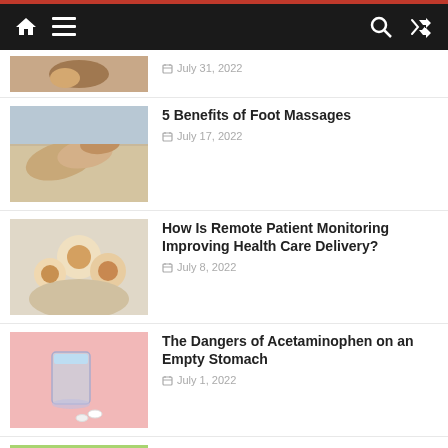Navigation bar with home, menu, search, and shuffle icons
[Figure (screenshot): Partial article thumbnail - hands holding phone, cropped at top]
July 31, 2022 (partial, cropped)
[Figure (photo): Person getting foot massage on couch]
5 Benefits of Foot Massages
July 17, 2022
[Figure (photo): Happy family laughing together on floor]
How Is Remote Patient Monitoring Improving Health Care Delivery?
July 8, 2022
[Figure (photo): Glass of water on pink background with pills]
The Dangers of Acetaminophen on an Empty Stomach
July 1, 2022
[Figure (photo): Pediatric nurse or teacher with children in classroom]
Pediatric Nurse Careers: # Things You Should Know